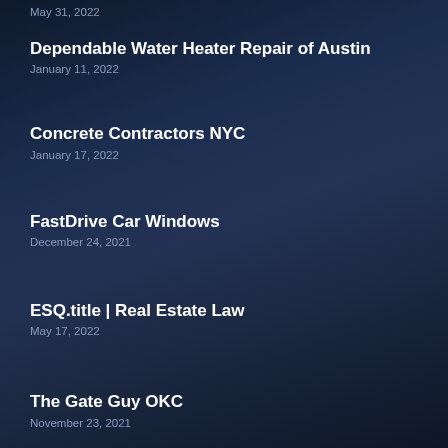May 31, 2022
Dependable Water Heater Repair of Austin
January 11, 2022
Concrete Contractors NYC
January 17, 2022
FastDrive Car Windows
December 24, 2021
ESQ.title | Real Estate Law
May 17, 2022
The Gate Guy OKC
November 23, 2021